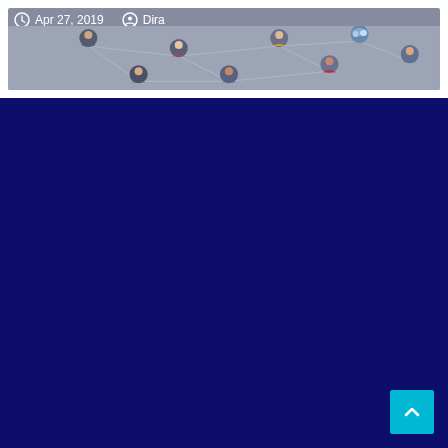[Figure (screenshot): A website card/preview showing a network illustration with connected people avatars, overlaid with metadata: date Apr 27, 2019 and author Dira. Below the card is a dark navy blue background. A cyan scroll-to-top button appears at the bottom right.]